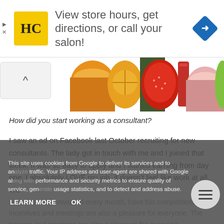[Figure (screenshot): Ad banner with HC logo (yellow square with HC text), text 'View store hours, get directions, or call your salon!', and a blue navigation diamond icon on the right]
[Figure (photo): Strip of beauty product images including bowls of cream, a strawberry, and colorful skincare products]
How did you start working as a consultant?
I saw an ad on Facebook last October recruiting for new consultants. The lady got in touch with me and I joined that week. It was so easy to apply and I started earning from day one. I absolutely LOVE my job, it doesn't feel like work at all. We are constantly rewarded every month, have fun competitions, incentives and meetings are also a pleasure for everyone. The training and meetings are also a pleasure for everyone.
This site uses cookies from Google to deliver its services and to analyze traffic. Your IP address and user-agent are shared with Google along with performance and security metrics to ensure quality of service, generate usage statistics, and to detect and address abuse.
LEARN MORE    OK
What are the benefits of being a consultant?